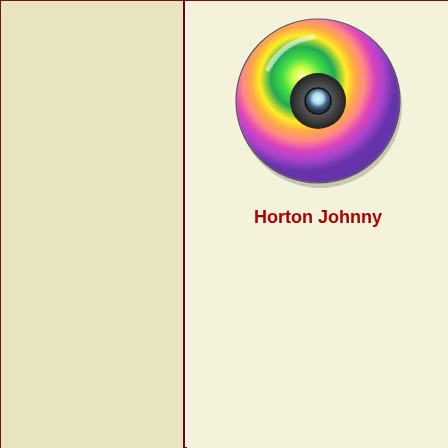[Figure (illustration): A colorful CD/DVD disc with rainbow reflective surface and dark center hole, rendered as an icon.]
Horton Johnny